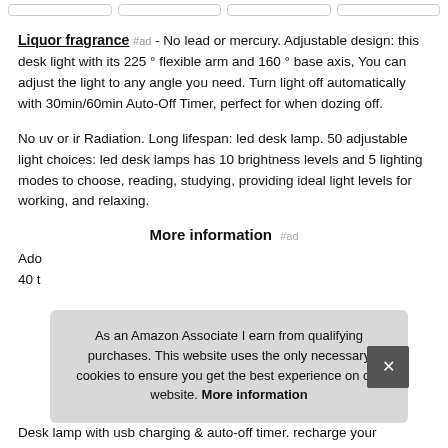Liquor fragrance #ad - No lead or mercury. Adjustable design: this desk light with its 225 ° flexible arm and 160 ° base axis, You can adjust the light to any angle you need. Turn light off automatically with 30min/60min Auto-Off Timer, perfect for when dozing off.
No uv or ir Radiation. Long lifespan: led desk lamp. 50 adjustable light choices: led desk lamps has 10 brightness levels and 5 lighting modes to choose, reading, studying, providing ideal light levels for working, and relaxing.
More information #ad
Ado... 40 t...
As an Amazon Associate I earn from qualifying purchases. This website uses the only necessary cookies to ensure you get the best experience on our website. More information
Desk lamp with usb charging & auto-off timer. recharge your